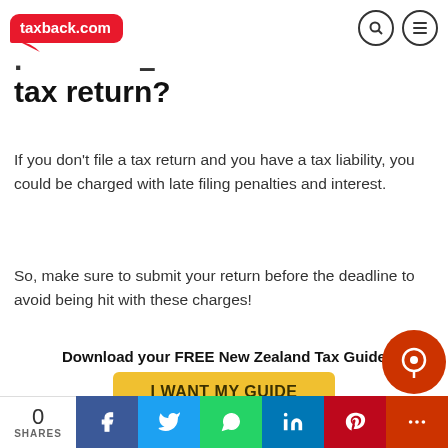taxback.com
tax return?
If you don't file a tax return and you have a tax liability, you could be charged with late filing penalties and interest.
So, make sure to submit your return before the deadline to avoid being hit with these charges!
Download your FREE New Zealand Tax Guide
I WANT MY GUIDE
0 SHARES | Facebook | Twitter | WhatsApp | LinkedIn | Pinterest | More